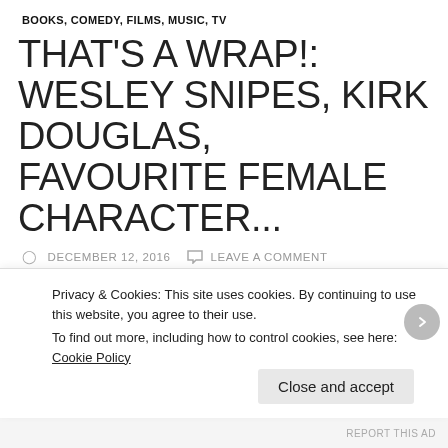BOOKS, COMEDY, FILMS, MUSIC, TV
THAT'S A WRAP!: WESLEY SNIPES, KIRK DOUGLAS, FAVOURITE FEMALE CHARACTER...
DECEMBER 12, 2016   LEAVE A COMMENT
Angie Greaves and I have lots to discuss in the latest edition of That's A Wrap!
Privacy & Cookies: This site uses cookies. By continuing to use this website, you agree to their use. To find out more, including how to control cookies, see here: Cookie Policy
Close and accept
REPORT THIS AD